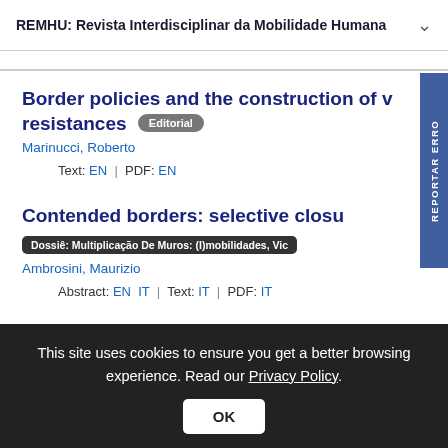REMHU: Revista Interdisciplinar da Mobilidade Humana
Border policies and the construction of v... resistances Editorial
Marinucci, Roberto
Text: EN | PDF: EN
Contended borders: selective closu...
Dossiê: Multiplicação De Muros: (I)mobilidades, Vic...
Ambrosini, Maurizio
Abstract: EN IT | Text: IT | PDF: IT
This site uses cookies to ensure you get a better browsing experience. Read our Privacy Policy.